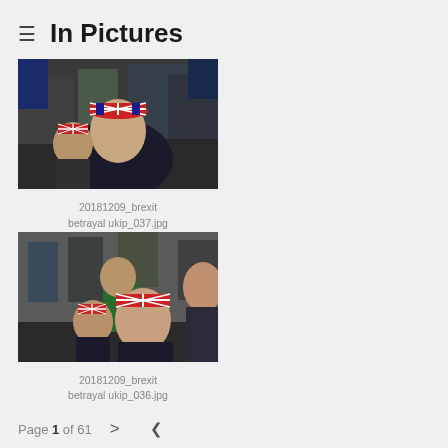In Pictures
[Figure (photo): Brexit betrayal UKIP rally photo, man wearing Union Jack hard hat in crowd]
20181209_brexit betrayal ukip_037.jpg
[Figure (photo): Brexit betrayal UKIP rally photo, man wearing Union Jack hard hat in crowd, wider shot]
20181209_brexit betrayal ukip_036.jpg
[Figure (photo): Brexit protest with Union Jack flags and banners]
[Figure (photo): Brexit protest with Union Jack flags and DEMOCRACY banner]
Page 1 of 61